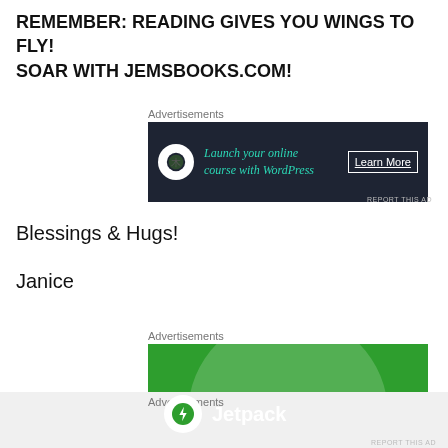REMEMBER: READING GIVES YOU WINGS TO FLY! SOAR WITH JEMSBOOKS.COM!
[Figure (illustration): Dark navy advertisement banner for WordPress online course with bonsai tree icon, teal text 'Launch your online course with WordPress' and white 'Learn More' button]
Blessings & Hugs!
Janice
[Figure (illustration): Green Jetpack advertisement banner with Jetpack logo (lightning bolt in white circle) and 'Jetpack' text in white on green background with translucent circle design]
Advertisements